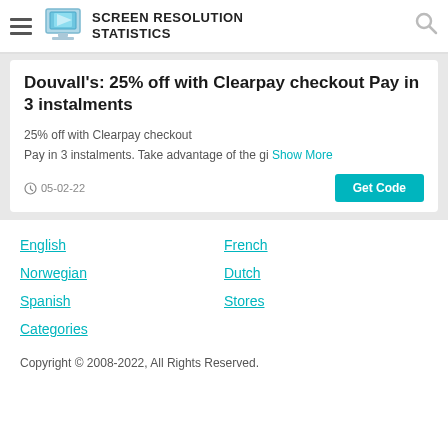SCREEN RESOLUTION STATISTICS
Douvall's: 25% off with Clearpay checkout Pay in 3 instalments
25% off with Clearpay checkout
Pay in 3 instalments. Take advantage of the gi... Show More
05-02-22
English
French
Norwegian
Dutch
Spanish
Stores
Categories
Copyright © 2008-2022, All Rights Reserved.